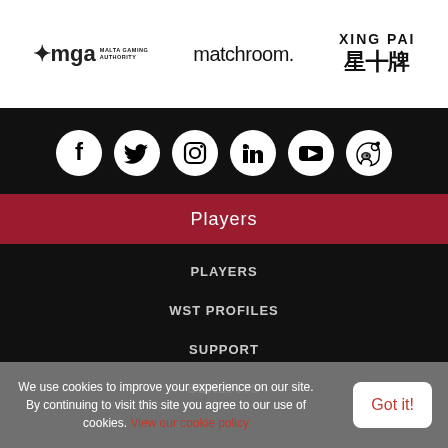[Figure (logo): MGA Malta Gaming Authority logo]
[Figure (logo): Matchroom logo]
[Figure (logo): Xing Pai logo with Chinese characters 星+牌]
[Figure (infographic): Social media icons row: Facebook, Twitter, Instagram, LinkedIn, YouTube, Weibo — white icons on black circles]
Players
PLAYERS
WST PROFILES
SUPPORT
BENEFITS
We use cookies to improve your experience on our site. By continuing to visit this site you agree to our use of cookies. View our cookie policy